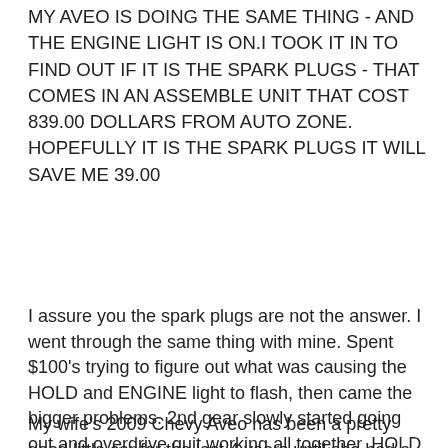MY AVEO IS DOING THE SAME THING - AND THE ENGINE LIGHT IS ON.I TOOK IT IN TO FIND OUT IF IT IS THE SPARK PLUGS - THAT COMES IN AN ASSEMBLE UNIT THAT COST 839.00 DOLLARS FROM AUTO ZONE. HOPEFULLY IT IS THE SPARK PLUGS IT WILL SAVE ME 39.00
I assure you the spark plugs are not the answer. I went through the same thing with mine. Spent $100's trying to figure out what was causing the HOLD and ENGINE light to flash, then came the bigger problems. 2nd gear slowly started going out and overdrive quit working all together. HOLD light has to do with the gears not shifting in the transmission, even says so in your cars manual. Even if the car feels it is shifting, something is not right. Hopefully you can fix it before it quits on you. My transmission ended up having to be rebuilt. :(
My wife's 2009 Chevy Aveo has been a pretty good little car for the last 4 years until she had a power...